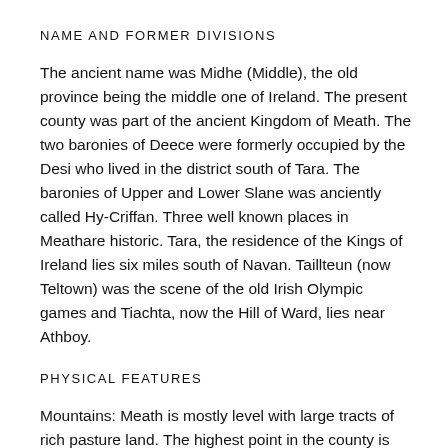NAME AND FORMER DIVISIONS
The ancient name was Midhe (Middle), the old province being the middle one of Ireland. The present county was part of the ancient Kingdom of Meath. The two baronies of Deece were formerly occupied by the Desi who lived in the district south of Tara. The baronies of Upper and Lower Slane was anciently called Hy-Criffan. Three well known places in Meathare historic. Tara, the residence of the Kings of Ireland lies six miles south of Navan. Taillteun (now Teltown) was the scene of the old Irish Olympic games and Tiachta, now the Hill of Ward, lies near Athboy.
PHYSICAL FEATURES
Mountains: Meath is mostly level with large tracts of rich pasture land. The highest point in the county is Carnbane (904’) in the Slieve na Calliagh or Loughcrew Range, east of